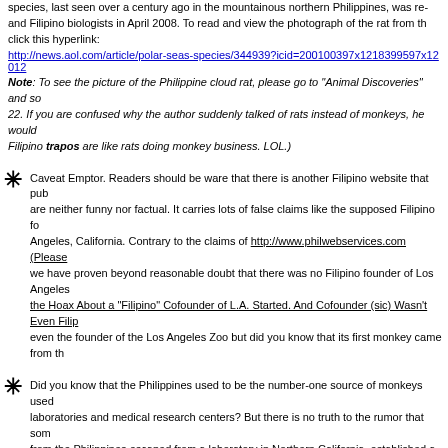species, last seen over a century ago in the mountainous northern Philippines, was re- and Filipino biologists in April 2008. To read and view the photograph of the rat from th click this hyperlink:
http://news.aol.com/article/polar-seas-species/344939?icid=200100397x1218399597x12012
Note: To see the picture of the Philippine cloud rat, please go to "Animal Discoveries" and so 22. If you are confused why the author suddenly talked of rats instead of monkeys, he would Filipino trapos are like rats doing monkey business. LOL.)
Caveat Emptor. Readers should be ware that there is another Filipino website that pub are neither funny nor factual. It carries lots of false claims like the supposed Filipino fo Angeles, California. Contrary to the claims of http://www.philwebservices.com (Please we have proven beyond reasonable doubt that there was no Filipino founder of Los Angeles the Hoax About a “Filipino” Cofounder of L.A. Started. And Cofounder (sic) Wasn’t Even Filip even the founder of the Los Angeles Zoo but did you know that its first monkey came from th
Did you know that the Philippines used to be the number-one source of monkeys used laboratories and medical research centers? But there is no truth to the rumor that som from the Philippines escaped from a laboratory in Northern California, established a co chapter of the Filipino-American National Historical Society (FANHS) or the National Federa Associations (NaFFAA). While it is true that there may be some monkey business in the FAM NaFFAA, it is absolutely preposterous to claim that some of their Northern-California chapter Philippine monkeys. This writer is the first journalist on record to defend the FANHS and the preposterous claim.
Did you know that Philippine monkeys were the models for the ape-inspired “See No E Talk No Evil” caricature?
Did you know that the title of the original 1893 "King Kong" anime was inspired by Fili